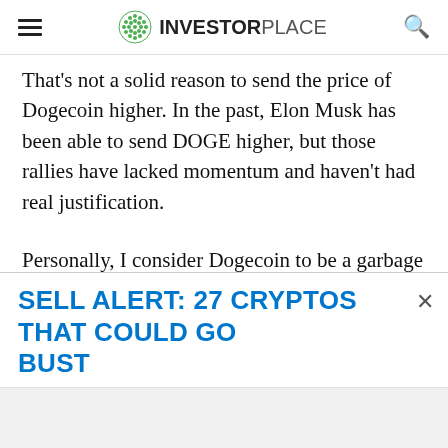INVESTORPLACE
That's not a solid reason to send the price of Dogecoin higher. In the past, Elon Musk has been able to send DOGE higher, but those rallies have lacked momentum and haven't had real justification.
Personally, I consider Dogecoin to be a garbage coin that had its 15 minutes of fame. I believe the actual price of DOGE is zero.
SELL ALERT: 27 CRYPTOS THAT COULD GO BUST
[Figure (other): Advertisement image area (gray background placeholder)]